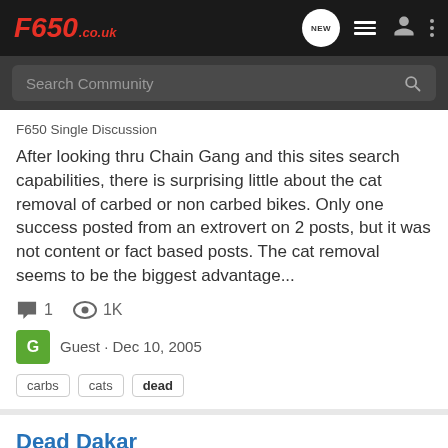F650.co.uk
Search Community
F650 Single Discussion
After looking thru Chain Gang and this sites search capabilities, there is surprising little about the cat removal of carbed or non carbed bikes. Only one success posted from an extrovert on 2 posts, but it was not content or fact based posts. The cat removal seems to be the biggest advantage...
1  1K
Guest · Dec 10, 2005
carbs
cats
dead
Dead Dakar
F650 Single Discussion
hey, Hello all. Can some one brief me on incident that the...